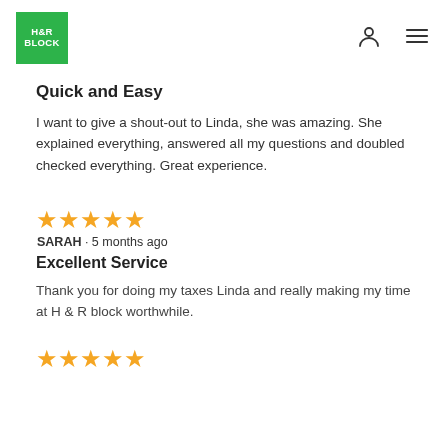H&R Block header with logo, person icon, and menu icon
Quick and Easy
I want to give a shout-out to Linda, she was amazing. She explained everything, answered all my questions and doubled checked everything. Great experience.
[Figure (other): Five gold stars rating]
SARAH · 5 months ago
Excellent Service
Thank you for doing my taxes Linda and really making my time at H & R block worthwhile.
[Figure (other): Five gold stars rating (partial view at bottom)]